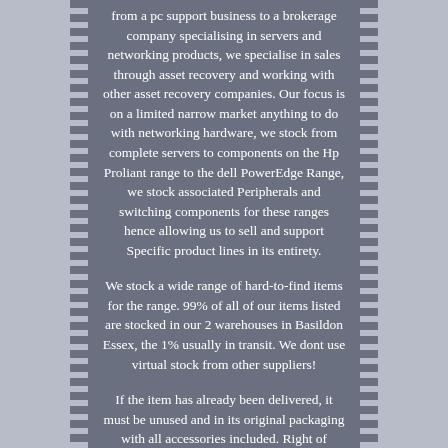from a pc support business to a brokerage company specialising in servers and networking products, we specialise in sales through asset recovery and working with other asset recovery companies. Our focus is on a limited narrow market anything to do with networking hardware, we stock from complete servers to components on the Hp Proliant range to the dell PowerEdge Range, we stock associated Peripherals and switching components for these ranges hence allowing us to sell and support Specific product lines in its entirety.
We stock a wide range of hard-to-find items for the range. 99% of all of our items listed are stocked in our 2 warehouses in Basildon Essex, the 1% usually in transit. We dont use virtual stock from other suppliers!
If the item has already been delivered, it must be unused and in its original packaging with all accessories included. Right of cancellation does not apply to